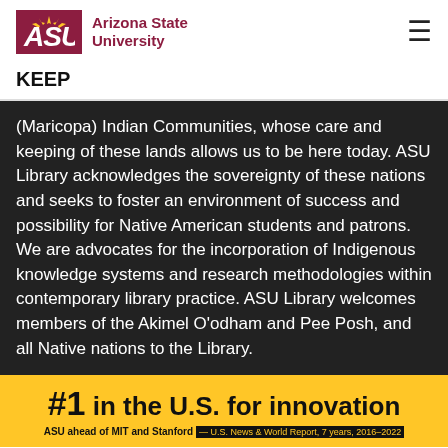[Figure (logo): ASU Arizona State University logo with maroon block letters and sunburst icon]
KEEP
(Maricopa) Indian Communities, whose care and keeping of these lands allows us to be here today. ASU Library acknowledges the sovereignty of these nations and seeks to foster an environment of success and possibility for Native American students and patrons. We are advocates for the incorporation of Indigenous knowledge systems and research methodologies within contemporary library practice. ASU Library welcomes members of the Akimel O'odham and Pee Posh, and all Native nations to the Library.
#1 in the U.S. for innovation ASU ahead of MIT and Stanford — U.S. News & World Report, 7 years, 2016–2022